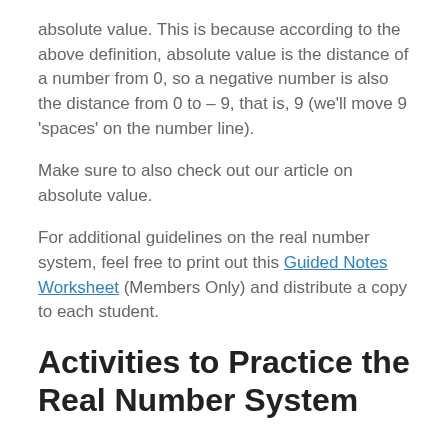absolute value. This is because according to the above definition, absolute value is the distance of a number from 0, so a negative number is also the distance from 0 to – 9, that is, 9 (we'll move 9 'spaces' on the number line).
Make sure to also check out our article on absolute value.
For additional guidelines on the real number system, feel free to print out this Guided Notes Worksheet (Members Only) and distribute a copy to each student.
Activities to Practice the Real Number System